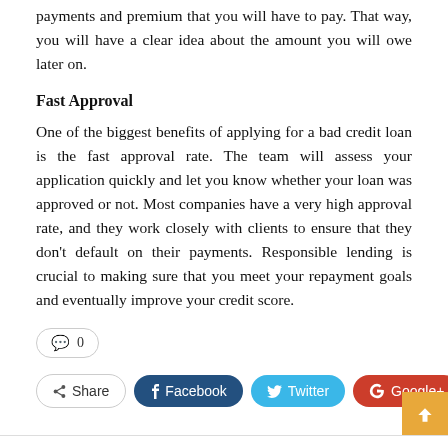payments and premium that you will have to pay. That way, you will have a clear idea about the amount you will owe later on.
Fast Approval
One of the biggest benefits of applying for a bad credit loan is the fast approval rate. The team will assess your application quickly and let you know whether your loan was approved or not. Most companies have a very high approval rate, and they work closely with clients to ensure that they don't default on their payments. Responsible lending is crucial to making sure that you meet your repayment goals and eventually improve your credit score.
💬 0
Share  Facebook  Twitter  Google+  +